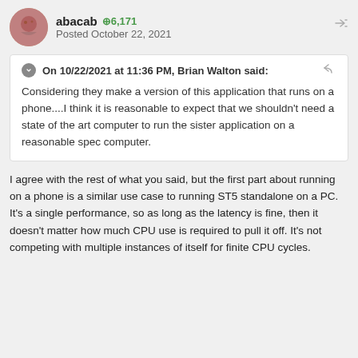abacab  6,171  Posted October 22, 2021
On 10/22/2021 at 11:36 PM, Brian Walton said: Considering they make a version of this application that runs on a phone....I think it is reasonable to expect that we shouldn't need a state of the art computer to run the sister application on a reasonable spec computer.
I agree with the rest of what you said, but the first part about running on a phone is a similar use case to running ST5 standalone on a PC. It's a single performance, so as long as the latency is fine, then it doesn't matter how much CPU use is required to pull it off. It's not competing with multiple instances of itself for finite CPU cycles.